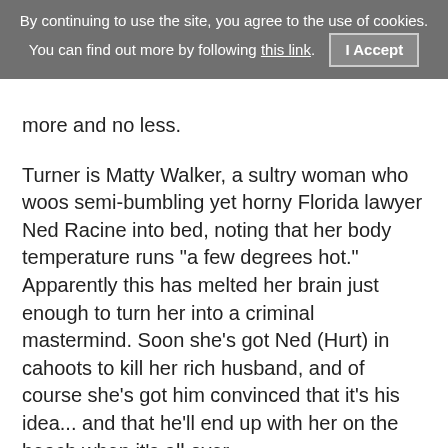By continuing to use the site, you agree to the use of cookies. You can find out more by following this link. I Accept
more and no less.
Turner is Matty Walker, a sultry woman who woos semi-bumbling yet horny Florida lawyer Ned Racine into bed, noting that her body temperature runs "a few degrees hot." Apparently this has melted her brain just enough to turn her into a criminal mastermind. Soon she's got Ned (Hurt) in cahoots to kill her rich husband, and of course she's got him convinced that it's his idea... and that he'll end up with her on the beach when it's all over.
Need I suggest that things go sour? And that Matty might be playing Ned for a fool? Well the fun in Body Heat isn't in discovering that Matty's a bad girl, but in watching how her machinations play out. We know they're coming, we just don't know how.